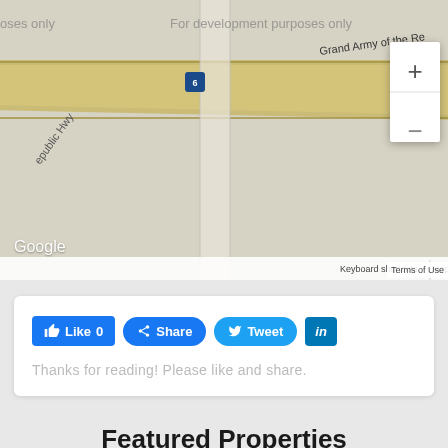[Figure (map): Google Maps screenshot showing Grand Army of the Republic Hwy / US Route 6 area, with development watermark text, Google logo, zoom controls (+/-), and map attribution footer including 'Keyboard shortcuts', 'Map data ©2022 Google', 'Terms of Use']
[Figure (screenshot): Social sharing widget with Facebook Like (0), Facebook Share, Twitter Tweet, and LinkedIn buttons, followed by text 'Thanks for reading! Please like and share.']
Featured Properties
[Figure (photo): Sky with white clouds — property listing thumbnail image]